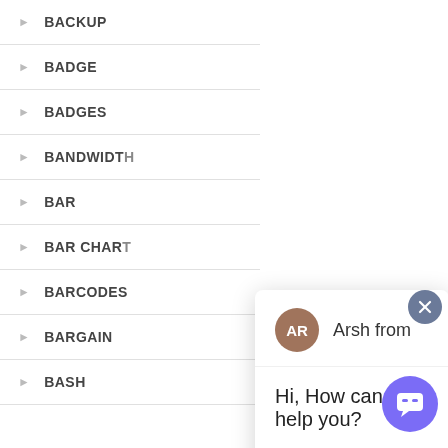BACKUP
BADGE
BADGES
BANDWIDTH
BAR
BAR CHART
BARCODES
BARGAIN
BASH
[Figure (screenshot): Chat popup widget showing avatar 'AR' for 'Arsh from', message 'Hi, How can I help you?' and a text input field with placeholder 'Type your message' and a send arrow button. A close (X) button is in the top-right corner. A purple chat bubble button is in the bottom-right.]